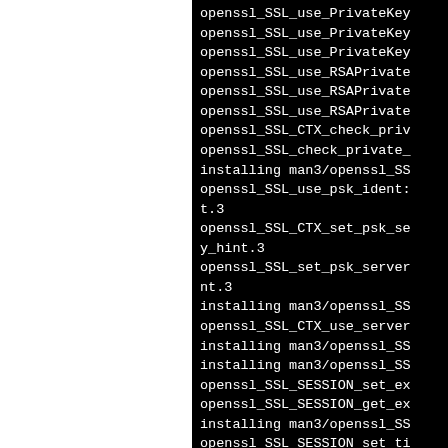[Figure (screenshot): Terminal/console output on black background showing a list of OpenSSL installation and function name lines, partially clipped on the right side. Lines include openssl_SSL_use_PrivateKey, openssl_SSL_use_RSAPrivateKey, openssl_SSL_CTX_check_priv, openssl_SSL_check_private_, installing man3/openssl_SS, openssl_SSL_use_psk_ident t.3, openssl_SSL_CTX_set_psk_se y_hint.3, openssl_SSL_set_psk_server nt.3, installing man3/openssl_SS, openssl_SSL_CTX_use_server, installing man3/openssl_SS (x2), openssl_SSL_SESSION_set_ex, openssl_SSL_SESSION_get_ex, installing man3/openssl_SS, openssl_SSL_SESSION_set_t, openssl_SSL_SESSION_... (cut off at bottom)]